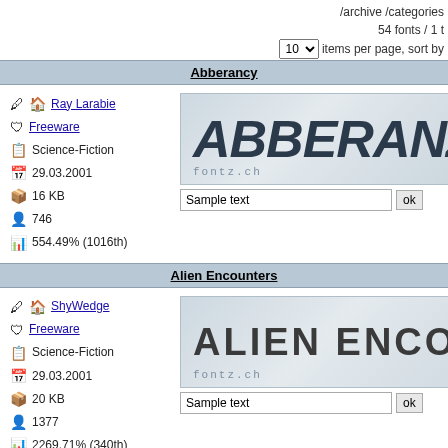/archive /categories
54 fonts / 1 t
10 items per page, sort by
Abberancy
Ray Larabie
Freeware
Science-Fiction
29.03.2001
16 KB
746
554.49% (1016th)
[Figure (screenshot): Font preview showing ABBERANZ in bold italic dark letters on light blue-grey background with fontz.ch watermark]
Alien Encounters
ShyWedge
Freeware
Science-Fiction
29.03.2001
20 KB
1377
2269.71% (340th)
[Figure (screenshot): Font preview showing ALIEN ENCOUNT in bold dark letters on light blue-grey background with fontz.ch watermark]
Alien Mushrooms
CHANK!
Freeware